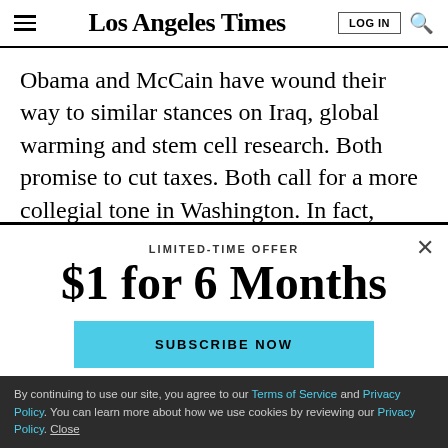Los Angeles Times
Obama and McCain have wound their way to similar stances on Iraq, global warming and stem cell research. Both promise to cut taxes. Both call for a more collegial tone in Washington. In fact, when the campaigns have
LIMITED-TIME OFFER
$1 for 6 Months
SUBSCRIBE NOW
By continuing to use our site, you agree to our Terms of Service and Privacy Policy. You can learn more about how we use cookies by reviewing our Privacy Policy. Close